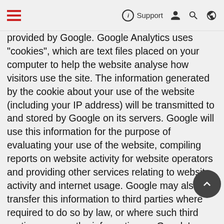Support
provided by Google. Google Analytics uses "cookies", which are text files placed on your computer to help the website analyse how visitors use the site. The information generated by the cookie about your use of the website (including your IP address) will be transmitted to and stored by Google on its servers. Google will use this information for the purpose of evaluating your use of the website, compiling reports on website activity for website operators and providing other services relating to website activity and internet usage. Google may also transfer this information to third parties where required to do so by law, or where such third parties process the information on Google's behalf. Google will not associate your IP address with any other data held by Google. You may refuse the use of cookies by selecting the appropriate settings on your browser, however please note that if you do this you may not be able to use the full functionality of this website. By using this website, you consent to the processing of data about you by Google in the manner and for the purposes set